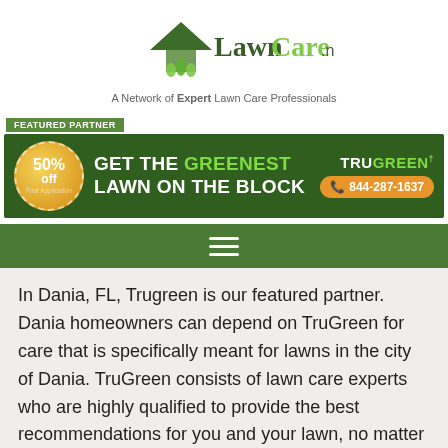[Figure (logo): LawnCare.net logo with house and grass icon, green color scheme]
A Network of Expert Lawn Care Professionals
[Figure (infographic): Featured Partner banner for TruGreen: 50% off first application badge, text GET THE GREENEST LAWN ON THE BLOCK, TruGreen logo, phone number 844-287-1637]
[Figure (other): Green navigation bar with hamburger menu icon (three horizontal lines)]
In Dania, FL, Trugreen is our featured partner. Dania homeowners can depend on TruGreen for care that is specifically meant for lawns in the city of Dania. TruGreen consists of lawn care experts who are highly qualified to provide the best recommendations for you and your lawn, no matter which part of the metropolitan Dania